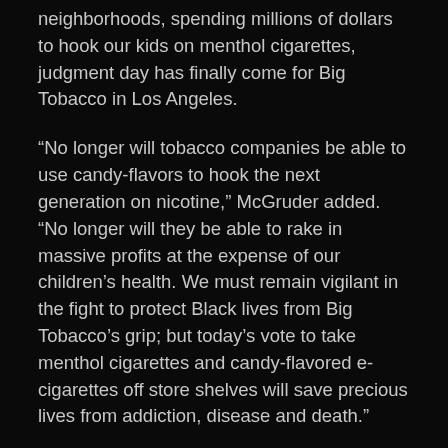neighborhoods, spending millions of dollars to hook our kids on menthol cigarettes, judgment day has finally come for Big Tobacco in Los Angeles.
“No longer will tobacco companies be able to use candy-flavors to hook the next generation on nicotine,” McGruder added. “No longer will they be able to rake in massive profits at the expense of our children’s health. We must remain vigilant in the fight to protect Black lives from Big Tobacco’s grip; but today’s vote to take menthol cigarettes and candy-flavored e-cigarettes off store shelves will save precious lives from addiction, disease and death.”
Council members also heard from representatives of the American Heart Association, Campaign for Tobacco Free Kids, the American Lung Association, the African American Tobacco Control Leadership Council and Black Leaders